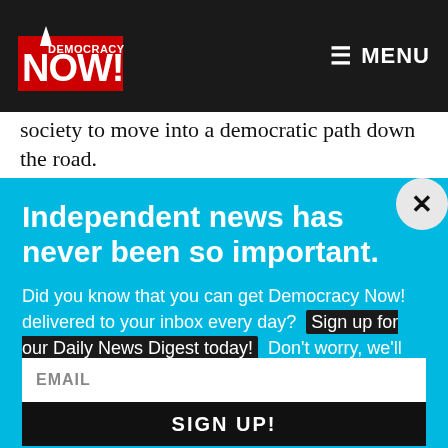Democracy Now! — MENU
society to move into a democratic path down the road.
Independent news has never been so important.
Did you know that you can get Democracy Now! delivered to your inbox every day? Sign up for our Daily News Digest today! Don't worry, we'll never share or sell your information.
EMAIL
SIGN UP!